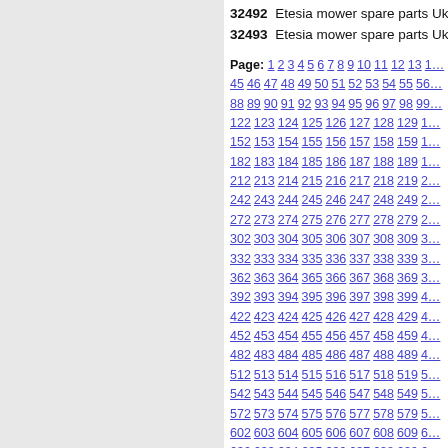32492  Etesia mower spare parts Uk
32493  Etesia mower spare parts Uk
Page: 1 2 3 4 5 6 7 8 9 10 11 12 13 ... 45 46 47 48 49 50 51 52 53 54 55 56 ... 88 89 90 91 92 93 94 95 96 97 98 99 ... 122 123 124 125 126 127 128 129 1... 152 153 154 155 156 157 158 159 1... 182 183 184 185 186 187 188 189 1... 212 213 214 215 216 217 218 219 2... 242 243 244 245 246 247 248 249 2... 272 273 274 275 276 277 278 279 2... 302 303 304 305 306 307 308 309 3... 332 333 334 335 336 337 338 339 3... 362 363 364 365 366 367 368 369 3... 392 393 394 395 396 397 398 399 4... 422 423 424 425 426 427 428 429 4... 452 453 454 455 456 457 458 459 4... 482 483 484 485 486 487 488 489 4... 512 513 514 515 516 517 518 519 5... 542 543 544 545 546 547 548 549 5... 572 573 574 575 576 577 578 579 5... 602 603 604 605 606 607 608 609 6... 632 633 634 635 636 637 638 639 6... 662 663 664 665 666 667 668 669 6... 692 693 694 695 696 697 698 699 7... 722 723 724 725 726 727 728 729 7... 752 753 754 755 756 757 758 759 7... 782 783 784 785 786 787 788 789 7... 812 813 814 815 816 817 818 819 8... 842 843 844 845 846 847 848 849 8...